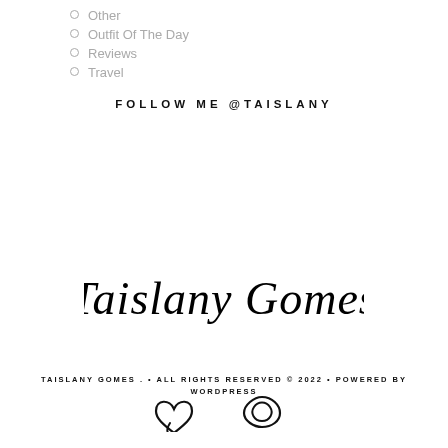Other
Outfit Of The Day
Reviews
Travel
FOLLOW ME @TAISLANY
[Figure (illustration): Taislany Gomes cursive signature logo in black script]
TAISLANY GOMES . • ALL RIGHTS RESERVED © 2022 • POWERED BY WORDPRESS
[Figure (illustration): Two decorative heart/loop icons]